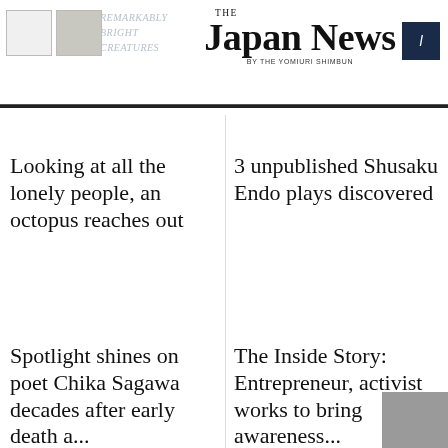THE JAPAN NEWS BY THE YOMIURI SHIMBUN
Looking at all the lonely people, an octopus reaches out
3 unpublished Shusaku Endo plays discovered
Spotlight shines on poet Chika Sagawa decades after early death a...
The Inside Story: Entrepreneur, activist works to bring awareness...